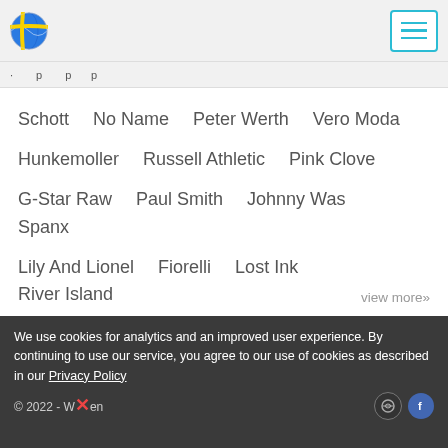[Globe logo] [Hamburger menu]
· · · p p p
Schott   No Name   Peter Werth   Vero Moda
Hunkemoller   Russell Athletic   Pink Clove
G-Star Raw   Paul Smith   Johnny Was   Spanx
Lily And Lionel   Fiorelli   Lost Ink   River Island
Manchester City   OBEY   Volcom   L'Oreal Paris
Wesc   Soul Star   Marc Jacobs   Fred Perry
Rachel Antonoff
view more»
We use cookies for analytics and an improved user experience. By continuing to use our service, you agree to our use of cookies as described in our Privacy Policy  © 2022 - Wsen